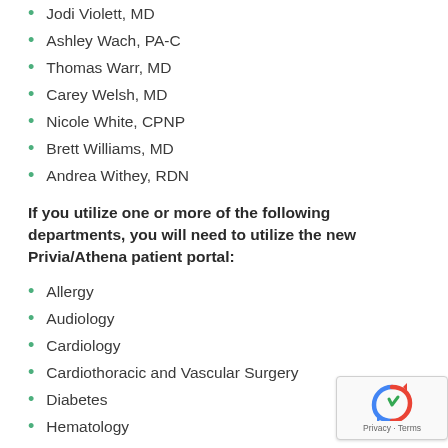Jodi Violett, MD
Ashley Wach, PA-C
Thomas Warr, MD
Carey Welsh, MD
Nicole White, CPNP
Brett Williams, MD
Andrea Withey, RDN
If you utilize one or more of the following departments, you will need to utilize the new Privia/Athena patient portal:
Allergy
Audiology
Cardiology
Cardiothoracic and Vascular Surgery
Diabetes
Hematology
Immediate Care Center
Infectious Disease